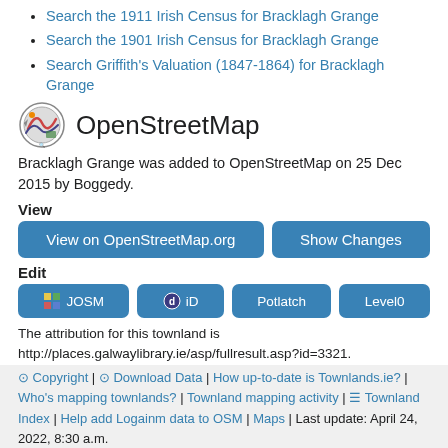Search the 1911 Irish Census for Bracklagh Grange
Search the 1901 Irish Census for Bracklagh Grange
Search Griffith's Valuation (1847-1864) for Bracklagh Grange
OpenStreetMap
Bracklagh Grange was added to OpenStreetMap on 25 Dec 2015 by Boggedy.
View
View on OpenStreetMap.org | Show Changes
Edit
JOSM | iD | Potlatch | Level0
The attribution for this townland is http://places.galwaylibrary.ie/asp/fullresult.asp?id=3321.
© Copyright | ⊙ Download Data | How up-to-date is Townlands.ie? | Who's mapping townlands? | Townland mapping activity | ☰ Townland Index | Help add Logainm data to OSM | Maps | Last update: April 24, 2022, 8:30 a.m.